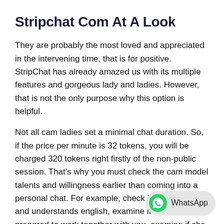Stripchat Com At A Look
They are probably the most loved and appreciated in the intervening time, that is for positive. StripChat has already amazed us with its multiple features and gorgeous lady and ladies. However, that is not the only purpose why this option is helpful.
Not all cam ladies set a minimal chat duration. So, if the price per minute is 32 tokens, you will be charged 320 tokens right firstly of the non-public session. That’s why you must check the cam model talents and willingness earlier than coming into a personal chat. For example, check if she speaks and understands english, examine if she is prepared to work together with you, examine if she is on the market. Don’t hurry earlier than starting a personal chat session. Not solely are you able to be a user on the si cam ladies, however you’ll find a way to turn out to be a